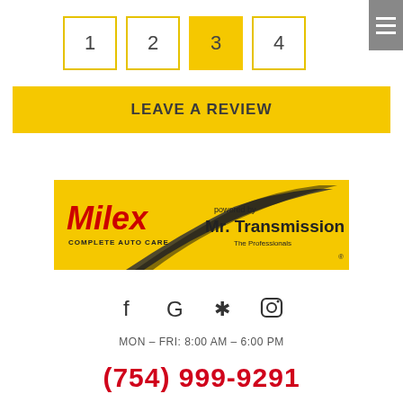[Figure (screenshot): Navigation step boxes numbered 1, 2, 3 (active/highlighted in yellow), 4]
LEAVE A REVIEW
[Figure (logo): Milex Complete Auto Care powered by Mr. Transmission The Professionals logo on yellow background]
[Figure (infographic): Social media icons: Facebook, Google, Yelp, Instagram]
MON – FRI: 8:00 AM – 6:00 PM
(754) 999-9291